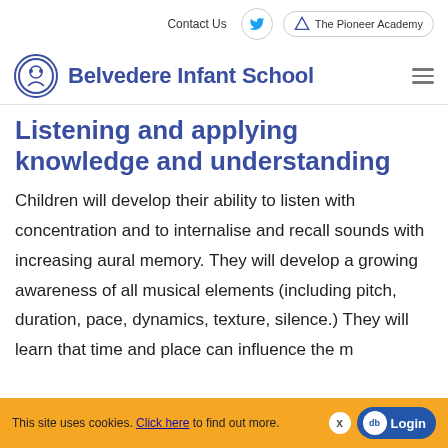Contact Us | Twitter | The Pioneer Academy
Belvedere Infant School
Listening and applying knowledge and understanding
Children will develop their ability to listen with concentration and to internalise and recall sounds with increasing aural memory. They will develop a growing awareness of all musical elements (including pitch, duration, pace, dynamics, texture, silence.) They will learn that time and place can influence the music...
This site uses cookies. Click here to find out more. x | Login